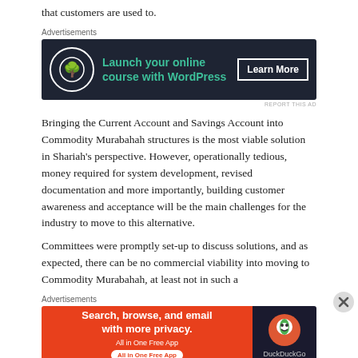that customers are used to.
Advertisements
[Figure (other): Advertisement banner: dark background with bonsai tree icon, text 'Launch your online course with WordPress', and 'Learn More' button]
Bringing the Current Account and Savings Account into Commodity Murabahah structures is the most viable solution in Shariah's perspective. However, operationally tedious, money required for system development, revised documentation and more importantly, building customer awareness and acceptance will be the main challenges for the industry to move to this alternative.
Committees were promptly set-up to discuss solutions, and as expected, there can be no commercial viability into moving to Commodity Murabahah, at least not in such a
Advertisements
[Figure (other): DuckDuckGo advertisement banner: orange section with 'Search, browse, and email with more privacy. All in One Free App' and dark section with DuckDuckGo logo]